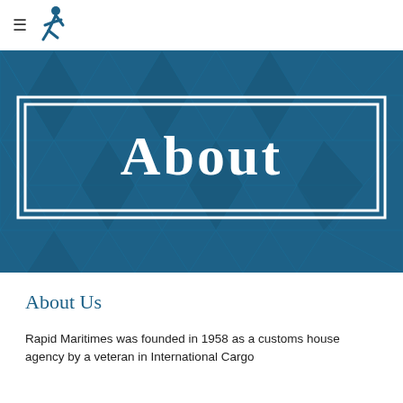≡ [logo icon]
[Figure (illustration): Dark teal hero banner with geometric polygon/diamond pattern background and a centered 'About' title in large white serif bold font inside a white double-bordered rectangular frame]
About
About Us
Rapid Maritimes was founded in 1958 as a customs house agency by a veteran in International Cargo